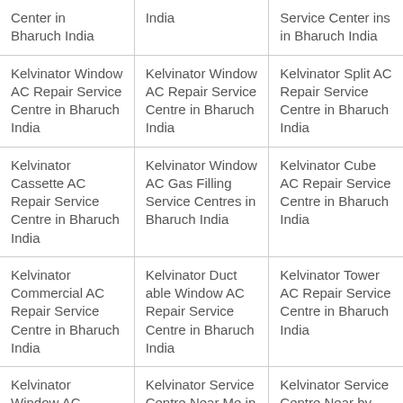| Center in Bharuch India | India | Service Center ins in Bharuch India |
| Kelvinator Window AC Repair Service Centre in Bharuch India | Kelvinator Window AC Repair Service Centre in Bharuch India | Kelvinator Split AC Repair Service Centre in Bharuch India |
| Kelvinator Cassette AC Repair Service Centre in Bharuch India | Kelvinator Window AC Gas Filling Service Centres in Bharuch India | Kelvinator Cube AC Repair Service Centre in Bharuch India |
| Kelvinator Commercial AC Repair Service Centre in Bharuch India | Kelvinator Duct able Window AC Repair Service Centre in Bharuch India | Kelvinator Tower AC Repair Service Centre in Bharuch India |
| Kelvinator Window A C... | Kelvinator Service Centre Near Me in... | Kelvinator Service Centre Near by... |